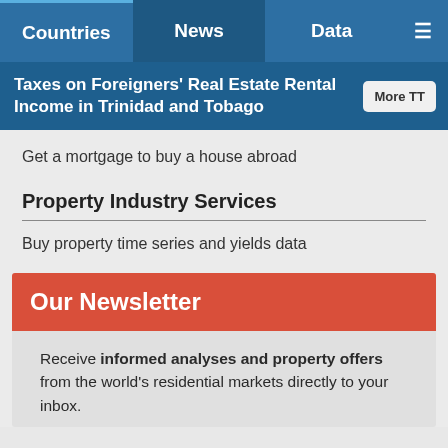Countries | News | Data | Menu
Taxes on Foreigners' Real Estate Rental Income in Trinidad and Tobago
Get a mortgage to buy a house abroad
Property Industry Services
Buy property time series and yields data
Our Newsletter
Receive informed analyses and property offers from the world's residential markets directly to your inbox.